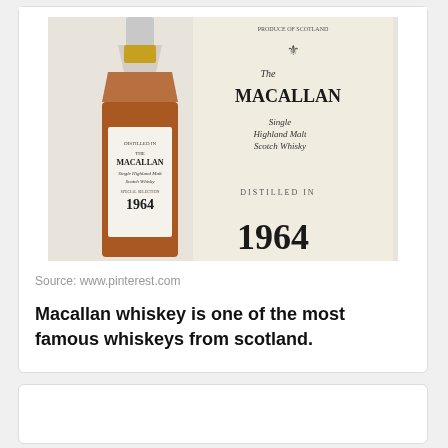[Figure (photo): A bottle of The Macallan Single Highland Malt Scotch Whisky Special Selection 1964 next to its box, both showing the year 1964 prominently.]
Source: www.pinterest.com
Macallan whiskey is one of the most famous whiskeys from scotland.